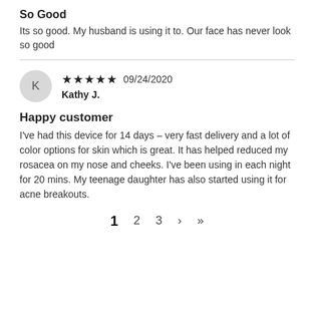So Good
Its so good. My husband is using it to. Our face has never look so good
★★★★★ 09/24/2020
Kathy J.
Happy customer
I've had this device for 14 days – very fast delivery and a lot of color options for skin which is great. It has helped reduced my rosacea on my nose and cheeks. I've been using in each night for 20 mins. My teenage daughter has also started using it for acne breakouts.
1  2  3  >  >|